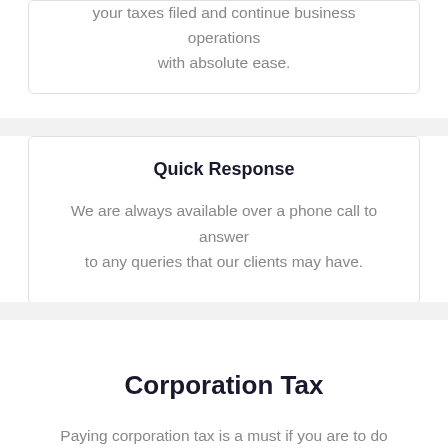your taxes filed and continue business operations with absolute ease.
Quick Response
We are always available over a phone call to answer to any queries that our clients may have.
Corporation Tax
Paying corporation tax is a must if you are to do business in